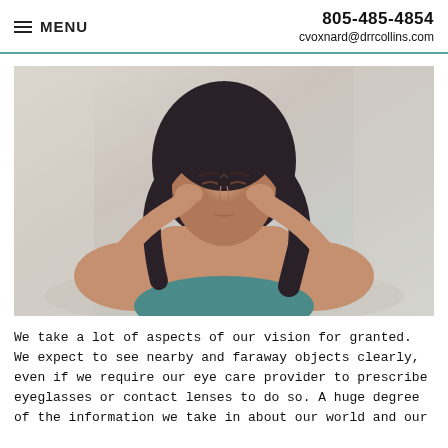805-485-4854
cvoxnard@drrcollins.com
MENU
[Figure (photo): Woman with dark hair holding her temples with both hands, eyes closed, appearing to have a headache or stress, seated against a light background]
We take a lot of aspects of our vision for granted. We expect to see nearby and faraway objects clearly, even if we require our eye care provider to prescribe eyeglasses or contact lenses to do so. A huge degree of the information we take in about our world and our